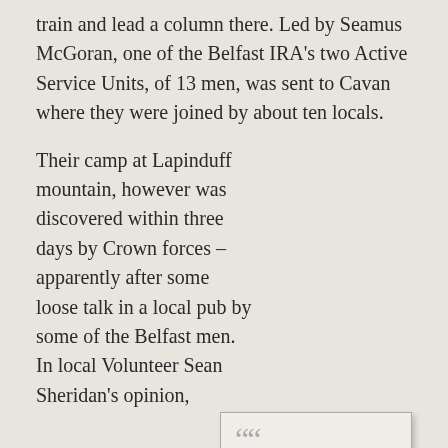train and lead a column there. Led by Seamus McGoran, one of the Belfast IRA's two Active Service Units, of 13 men, was sent to Cavan where they were joined by about ten locals.
Their camp at Lapinduff mountain, however was discovered within three days by Crown forces – apparently after some loose talk in a local pub by some of the Belfast men. In local Volunteer Sean Sheridan's opinion, 'the position was to my mind, a very bad one. It was on top of a hill which stood up like a pimple in the surrounding countryside'.
[Figure (other): Pull quote box with decorative quotation marks reading: Attempts by IRA GHQ to set up flying columns in Letrim and Cavan ended in disaster, with entire two columns killed or captured.]